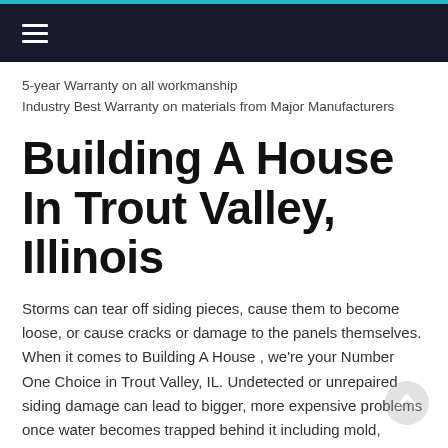≡ (navigation menu)
5-year Warranty on all workmanship
Industry Best Warranty on materials from Major Manufacturers
Building A House In Trout Valley, Illinois
Storms can tear off siding pieces, cause them to become loose, or cause cracks or damage to the panels themselves. When it comes to Building A House , we're your Number One Choice in Trout Valley, IL. Undetected or unrepaired siding damage can lead to bigger, more expensive problems once water becomes trapped behind it including mold, caulking failures, separating seams, warping boards that do not lay flat against the house, swelling, delaminating (outer coating spelling, peeling or